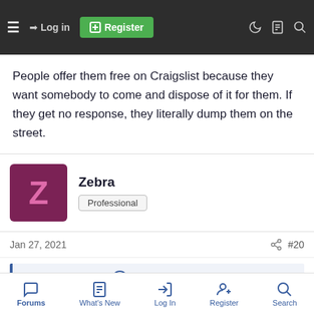Log in | Register
drag a 100lb crt TV to a shop for th... they might get for their trouble.
People offer them free on Craigslist because they want somebody to come and dispose of it for them. If they get no response, they literally dump them on the street.
Zebra
Professional
Jan 27, 2021   #20
Franco23444 said:
I mean, playing on the actual arcade hardware is a lot cooler in my opinion.
Forums   What's New   Log In   Register   Search